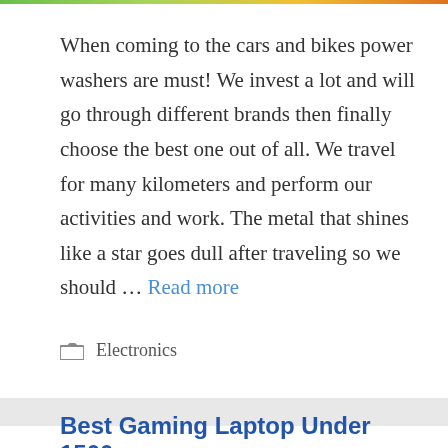When coming to the cars and bikes power washers are must! We invest a lot and will go through different brands then finally choose the best one out of all. We travel for many kilometers and perform our activities and work. The metal that shines like a star goes dull after traveling so we should … Read more
Electronics
Best Gaming Laptop Under 1500